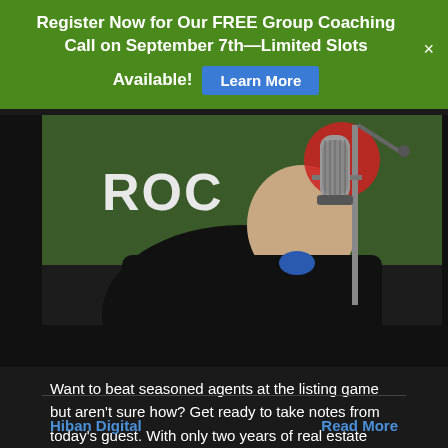Register Now for Our FREE Group Coaching Call on September 7th—Limited Slots Available! Learn More
[Figure (photo): Person sitting at a podcast/radio studio microphone with a green wall behind showing partial text 'ROC'. A red circular overlay is partially visible. The person is wearing a dark jacket and blue shirt.]
Want to beat seasoned agents at the listing game but aren't sure how? Get ready to take notes from today's guest. With only two years of real estate experience, Shane Dulgeroff gets and sells a…
Hiban Digital   Read More